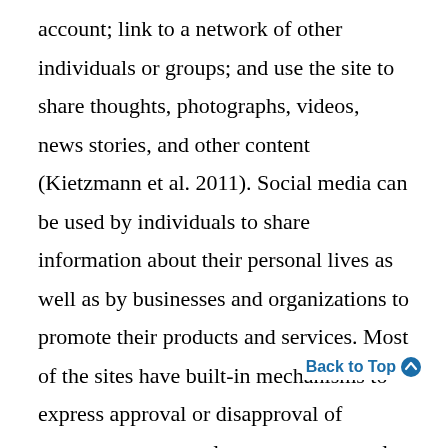account; link to a network of other individuals or groups; and use the site to share thoughts, photographs, videos, news stories, and other content (Kietzmann et al. 2011). Social media can be used by individuals to share information about their personal lives as well as by businesses and organizations to promote their products and services. Most of the sites have built-in mechanisms to express approval or disapproval of content; consequently, users can not only form their own impression of a post or video but also can see how many others, and sometimes exactly who, also expressed approval. This multidirectional and user-generated communication about content